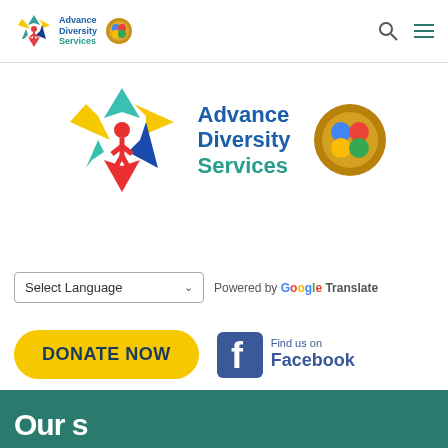[Figure (logo): Advance Diversity Services logo with puzzle-star figure and Google for Nonprofits badge in navigation bar]
[Figure (logo): Large Advance Diversity Services logo with colorful puzzle-star figure and text, alongside Google for Nonprofits gold badge]
Select Language  Powered by Google Translate
DONATE NOW
Find us on Facebook